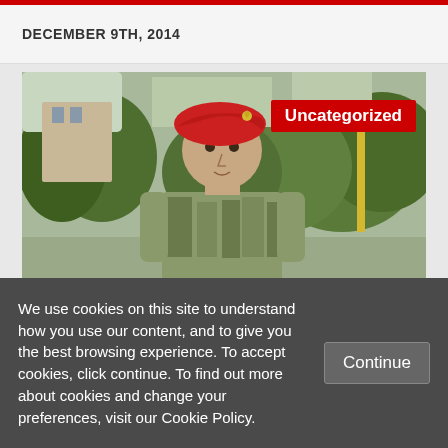DECEMBER 9TH, 2014
[Figure (photo): Young man in military camouflage uniform and red beret standing outdoors with trees in the background. A red 'Uncategorized' badge appears in the upper right of the photo.]
The Arab Thermidor
We use cookies on this site to understand how you use our content, and to give you the best browsing experience. To accept cookies, click continue. To find out more about cookies and change your preferences, visit our Cookie Policy.